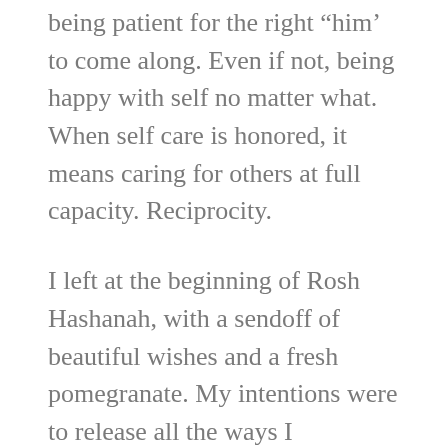being patient for the right “him’ to come along. Even if not, being happy with self no matter what. When self care is honored, it means caring for others at full capacity. Reciprocity.
I left at the beginning of Rosh Hashanah, with a sendoff of beautiful wishes and a fresh pomegranate. My intentions were to release all the ways I blundered the past year and welcome with an open heart what will enter for the new year.
Toda Raba